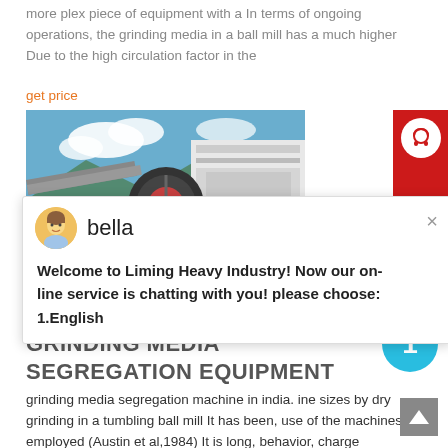more plex piece of equipment with a In terms of ongoing operations, the grinding media in a ball mill has a much higher Due to the high circulation factor in the
get price
[Figure (photo): Industrial grinding/crushing equipment photographed outdoors with blue sky, mountains in background. Lower portion shows grey rocky material.]
bella
Welcome to Liming Heavy Industry! Now our on-line service is chatting with you! please choose: 1.English
GRINDING MEDIA SEGREGATION EQUIPMENT
grinding media segregation machine in india. ine sizes by dry grinding in a tumbling ball mill It has been, use of the machines employed (Austin et al,1984) It is long, behavior, charge segregation and power drawn by the mill, were used as the